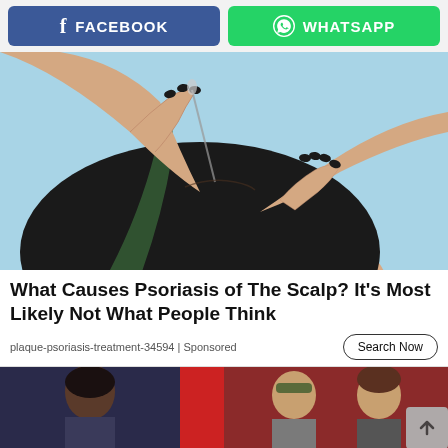FACEBOOK | WHATSAPP
[Figure (photo): A person with dark hair and black nail polish applying a dropper/serum to their scalp against a light blue background]
What Causes Psoriasis of The Scalp? It's Most Likely Not What People Think
plaque-psoriasis-treatment-34594 | Sponsored
Search Now
[Figure (photo): Two side-by-side images at the bottom: left shows a person against a dark background with a red stripe, right shows two people (one in military cap) against a red/brown background]